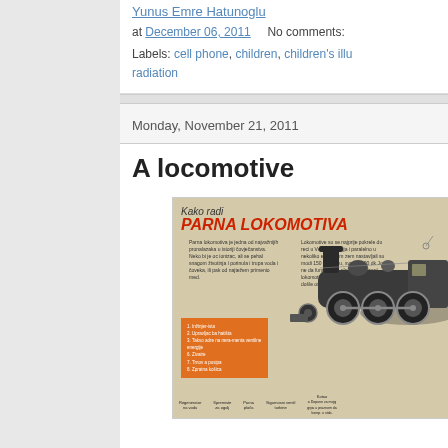Yunus Emre Hatunoglu
at December 06, 2011   No comments:
Labels: cell phone, children, children's illu radiation
Monday, November 21, 2011
A locomotive
[Figure (illustration): Illustrated diagram of a steam locomotive labeled 'Kako radi PARNA LOKOMOTIVA' (How a steam locomotive works) with text descriptions, an orange numbered legend box, and labeled parts at the bottom including Regenerator na vodu, Spremiste za ugalj, Parna ploča, Sigurnosni ventil turbine, and Kotao.]